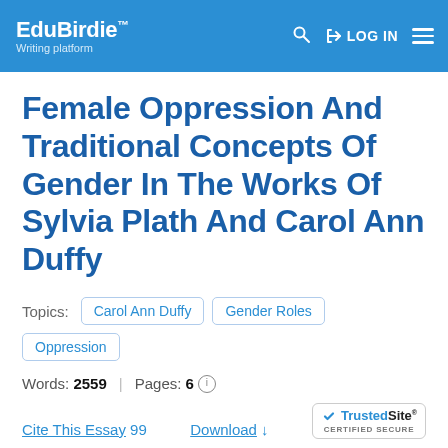EduBirdie™ Writing platform | LOG IN
Female Oppression And Traditional Concepts Of Gender In The Works Of Sylvia Plath And Carol Ann Duffy
Topics: Carol Ann Duffy | Gender Roles | Oppression
Words: 2559 | Pages: 6
Cite This Essay 99 | Download